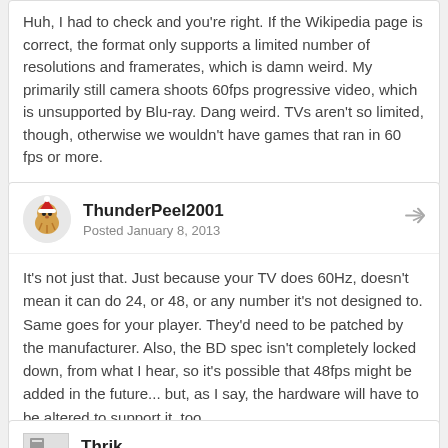Huh, I had to check and you're right. If the Wikipedia page is correct, the format only supports a limited number of resolutions and framerates, which is damn weird. My primarily still camera shoots 60fps progressive video, which is unsupported by Blu-ray. Dang weird. TVs aren't so limited, though, otherwise we wouldn't have games that ran in 60 fps or more.
ThunderPeel2001
Posted January 8, 2013
It's not just that. Just because your TV does 60Hz, doesn't mean it can do 24, or 48, or any number it's not designed to. Same goes for your player. They'd need to be patched by the manufacturer. Also, the BD spec isn't completely locked down, from what I hear, so it's possible that 48fps might be added in the future... but, as I say, the hardware will have to be altered to support it, too.
Thrik